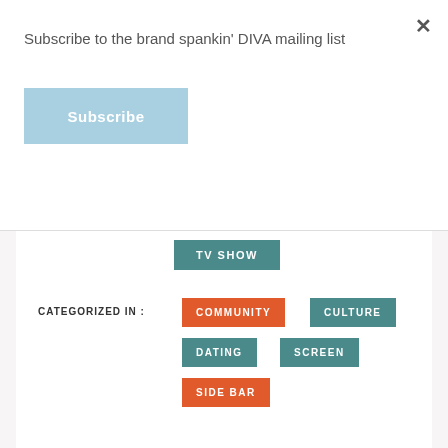Subscribe to the brand spankin' DIVA mailing list
Subscribe
TV SHOW
CATEGORIZED IN :
COMMUNITY
CULTURE
DATING
SCREEN
SIDE BAR
Related Articles
[Figure (photo): Black and white photo of two women in close embrace]